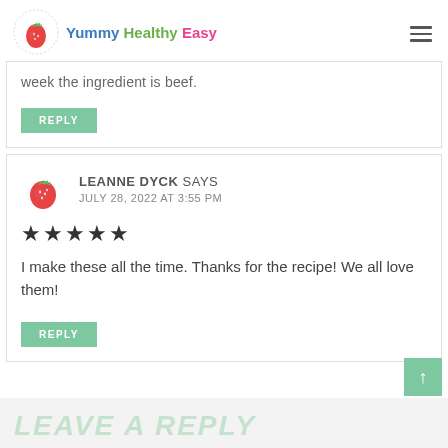Yummy Healthy Easy
week the ingredient is beef.
REPLY
LEANNE DYCK SAYS
JULY 28, 2022 AT 3:55 PM
★★★★★
I make these all the time. Thanks for the recipe! We all love them!
REPLY
LEAVE A REPLY